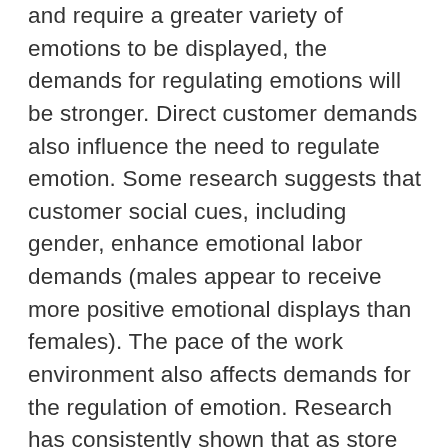and require a greater variety of emotions to be displayed, the demands for regulating emotions will be stronger. Direct customer demands also influence the need to regulate emotion. Some research suggests that customer social cues, including gender, enhance emotional labor demands (males appear to receive more positive emotional displays than females). The pace of the work environment also affects demands for the regulation of emotion. Research has consistently shown that as store busyness (in terms of customers being served) increases, the display of positive emotion decreases. It appears that during busy times, norms emphasize speed and efficiency and deemphasize the display of positive emotions during interactions with customers. It seems likely that during busy times, employees also feel greater stress and negative emotion, which would make emotion regulation more difficult.